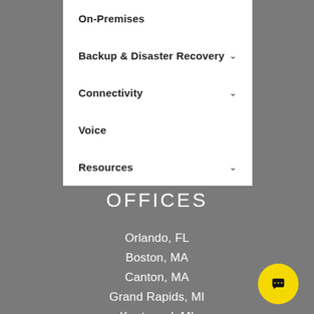On-Premises
Backup & Disaster Recovery
Connectivity
Voice
Resources
OFFICES
Orlando, FL
Boston, MA
Canton, MA
Grand Rapids, MI
Kentwood, MI